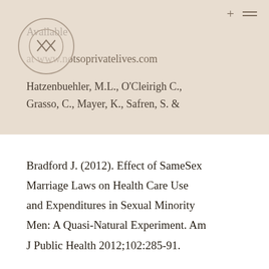Available at www.notsoprivatelives.com
Hatzenbuehler, M.L., O'Cleirigh C., Grasso, C., Mayer, K., Safren, S. & Bradford J. (2012). Effect of SameSex Marriage Laws on Health Care Use and Expenditures in Sexual Minority Men: A Quasi-Natural Experiment. Am J Public Health 2012;102:285-91.
This website uses cookies and third party services.